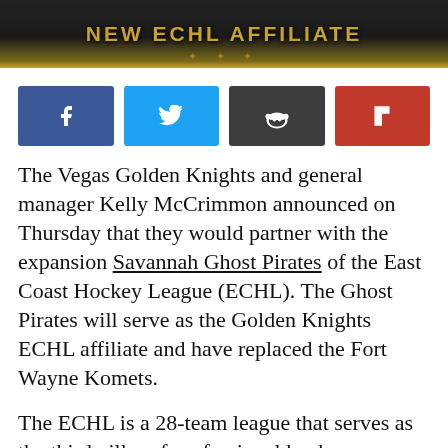NEW ECHL AFFILIATE
[Figure (infographic): Four social share buttons: Facebook (blue), Twitter (cyan), Reddit (dark gray), Flipboard (red)]
The Vegas Golden Knights and general manager Kelly McCrimmon announced on Thursday that they would partner with the expansion Savannah Ghost Pirates of the East Coast Hockey League (ECHL). The Ghost Pirates will serve as the Golden Knights ECHL affiliate and have replaced the Fort Wayne Komets.
The ECHL is a 28-team league that serves as the third pillar of professional hockey...